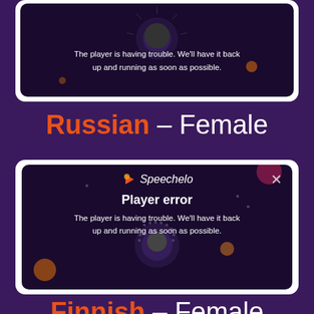[Figure (screenshot): Video player error screen showing 'The player is having trouble. We'll have it back up and running as soon as possible.' on dark background]
Russian – Female
[Figure (screenshot): Speechelo player error dialog showing 'Player error' and 'The player is having trouble. We'll have it back up and running as soon as possible.' with close X button]
Finnish – Female